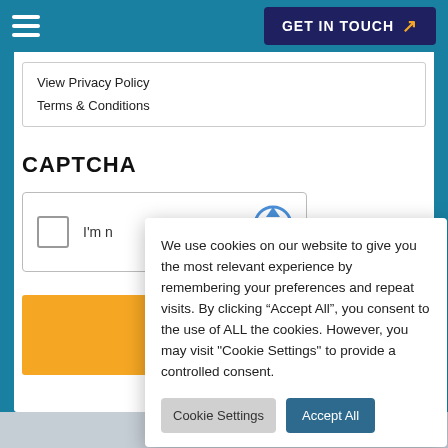GET IN TOUCH
View Privacy Policy
Terms & Conditions
CAPTCHA
[Figure (other): reCAPTCHA widget with checkbox and 'I'm n...' text and reCAPTCHA logo]
[Figure (other): Yellow/orange submit button area]
We use cookies on our website to give you the most relevant experience by remembering your preferences and repeat visits. By clicking “Accept All”, you consent to the use of ALL the cookies. However, you may visit "Cookie Settings" to provide a controlled consent.
Cookie Settings   Accept All